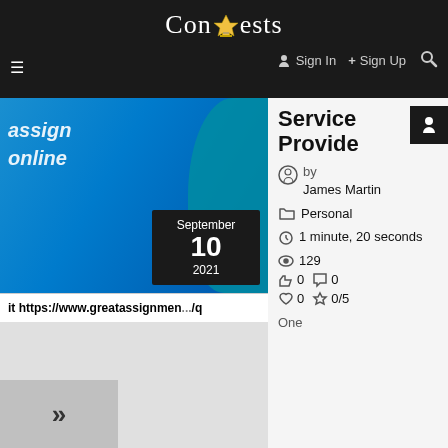Contests
Sign In  +  Sign Up
[Figure (screenshot): Article thumbnail image with blue background and text 'assign online', date badge showing September 10 2021, and URL bar with https://www.greatassignment...]
Service Provide
by James Martin
Personal
1 minute, 20 seconds
129
0  0
0  0/5
One